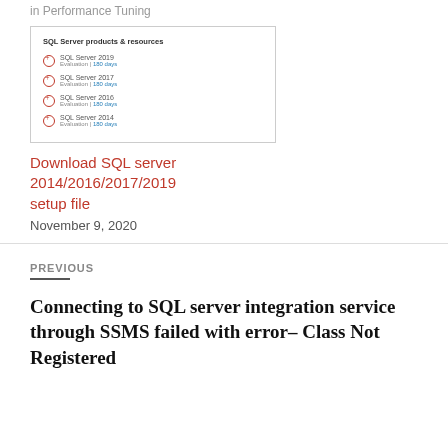in  Performance Tuning
[Figure (screenshot): Screenshot of SQL Server products and resources list showing SQL Server 2019, 2017, 2016, and 2014 with download links]
Download SQL server 2014/2016/2017/2019 setup file
November 9, 2020
PREVIOUS
Connecting to SQL server integration service through SSMS failed with error– Class Not Registered